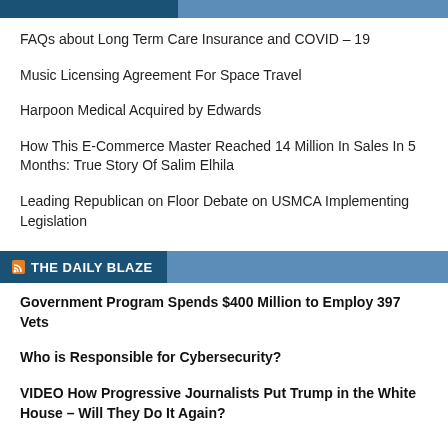FAQs about Long Term Care Insurance and COVID – 19
Music Licensing Agreement For Space Travel
Harpoon Medical Acquired by Edwards
How This E-Commerce Master Reached 14 Million In Sales In 5 Months: True Story Of Salim Elhila
Leading Republican on Floor Debate on USMCA Implementing Legislation
THE DAILY BLAZE
Government Program Spends $400 Million to Employ 397 Vets
Who is Responsible for Cybersecurity?
VIDEO How Progressive Journalists Put Trump in the White House – Will They Do It Again?